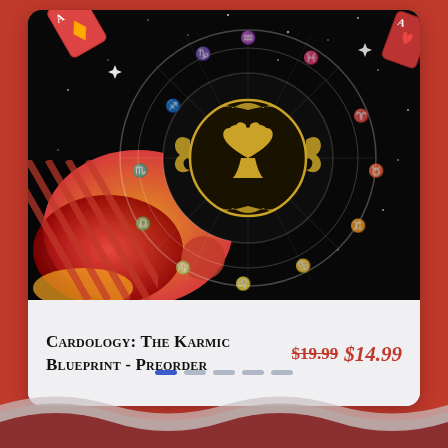[Figure (illustration): Dark mystical product image: zodiac wheel with astrological symbols on a black starry background, centered golden ornate spade emblem, red/orange decorative blobs and diagonal stripe patterns on the lower left, playing card corners visible top-left and top-right.]
Cardology: The Karmic Blueprint - Preorder
$19.99 $14.99